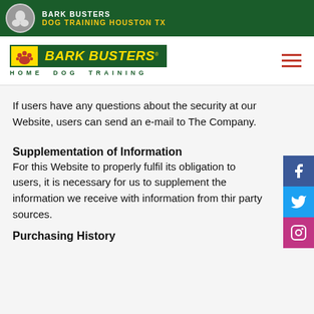BARK BUSTERS DOG TRAINING HOUSTON TX
[Figure (logo): Bark Busters Home Dog Training logo with paw print icon]
If users have any questions about the security at our Website, users can send an e-mail to The Company.
Supplementation of Information
For this Website to properly fulfil its obligation to users, it is necessary for us to supplement the information we receive with information from third party sources.
Purchasing History